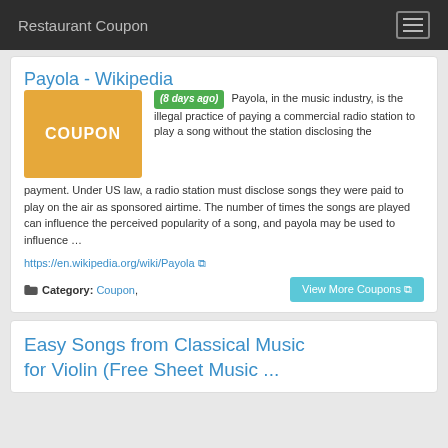Restaurant Coupon
Payola - Wikipedia
[Figure (other): Orange coupon placeholder image with text COUPON]
(8 days ago) Payola, in the music industry, is the illegal practice of paying a commercial radio station to play a song without the station disclosing the payment. Under US law, a radio station must disclose songs they were paid to play on the air as sponsored airtime. The number of times the songs are played can influence the perceived popularity of a song, and payola may be used to influence …
https://en.wikipedia.org/wiki/Payola
Category: Coupon,
View More Coupons
Easy Songs from Classical Music for Violin (Free Sheet Music ...